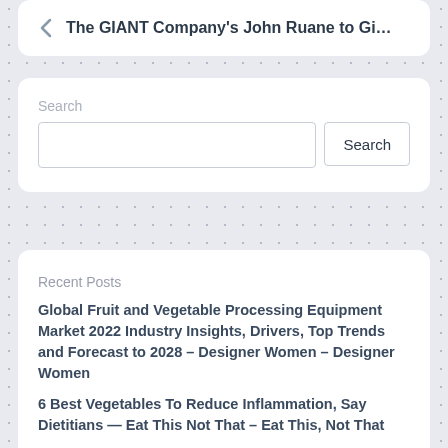The GIANT Company's John Ruane to Gi…
Search
Search
Recent Posts
Global Fruit and Vegetable Processing Equipment Market 2022 Industry Insights, Drivers, Top Trends and Forecast to 2028 – Designer Women – Designer Women
6 Best Vegetables To Reduce Inflammation, Say Dietitians — Eat This Not That – Eat This, Not That
Surfside's Cafe Vert: Where diners feel like family – South Florida Sun Sentinel
Massive Growth of Vegetable (UPMC) Sample…